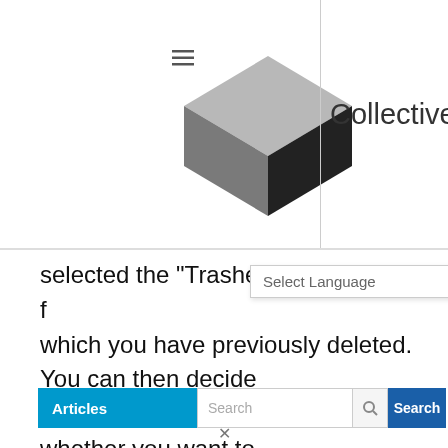CollectiveRay
selected the "Trashed" status you will find which you have previously deleted. You can then decide what you want to do with these, whether you want to Publish or permanently delete these Joomla trashed items permanently.

You won't find a 2nd recycle bin if you actually delete them again so be careful.
[Figure (screenshot): Articles navigation bar with search box and Search button at the bottom of the page]